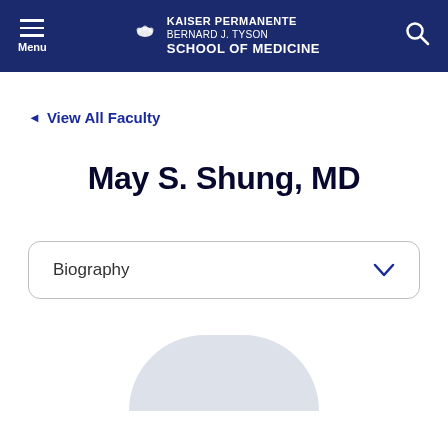Kaiser Permanente Bernard J. Tyson School of Medicine
◄ View All Faculty
May S. Shung, MD
Biography
[Figure (photo): Circular profile photo placeholder, light gray color, partially visible at bottom of page]